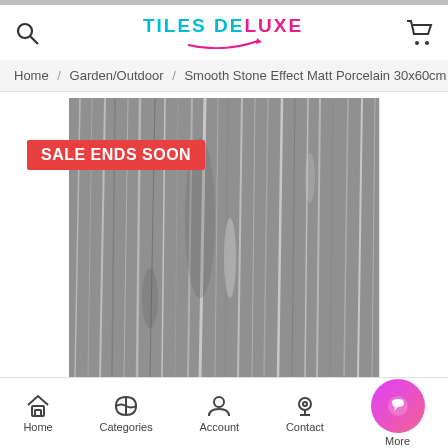TILES DELUXE
Home / Garden/Outdoor / Smooth Stone Effect Matt Porcelain 30x60cm
[Figure (photo): Product photo of smooth stone effect matt porcelain tile with grey streaked texture on a white background. Red 'SALE ENDS SOON' banner overlaid top-left.]
SALE ENDS SOON
ADD TO CART
BUY NOW
Home   Categories   Account   Contact   More